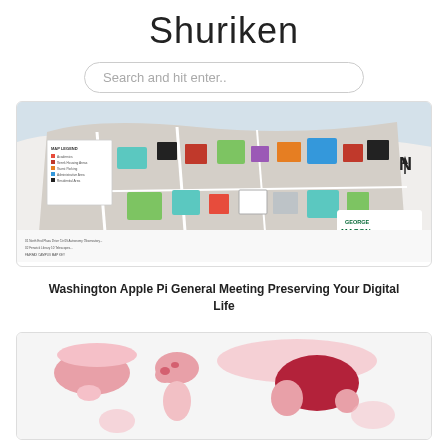Shuriken
Search and hit enter..
[Figure (map): George Mason University Fairfax Campus map with map legend and building key]
Washington Apple Pi General Meeting Preserving Your Digital Life
[Figure (map): World map showing countries highlighted in shades of pink/red, with China notably highlighted in dark red]